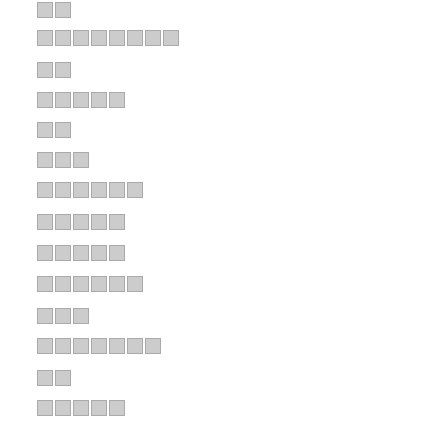▯▯
▯▯▯▯▯▯▯▯
▯▯
▯▯▯▯▯
▯▯
▯▯▯
▯▯▯▯▯▯
▯▯▯▯▯
▯▯▯▯▯
▯▯▯▯▯▯
▯▯▯
▯▯▯▯▯▯▯
▯▯
▯▯▯▯▯